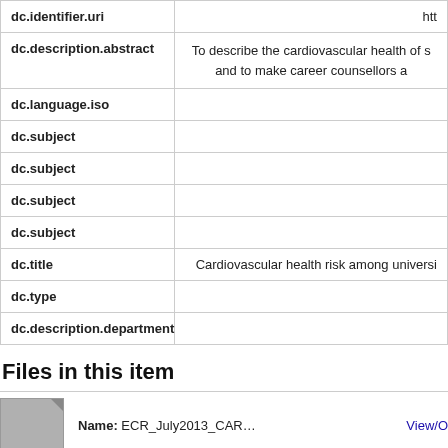| Field | Value |
| --- | --- |
| dc.identifier.uri | htt… |
| dc.description.abstract | To describe the cardiovascular health of s… and to make career counsellors a… |
| dc.language.iso |  |
| dc.subject |  |
| dc.subject |  |
| dc.subject |  |
| dc.subject |  |
| dc.title | Cardiovascular health risk among universi… |
| dc.type |  |
| dc.description.department |  |
Files in this item
Name: ECR_July2013_CAR… View/O…